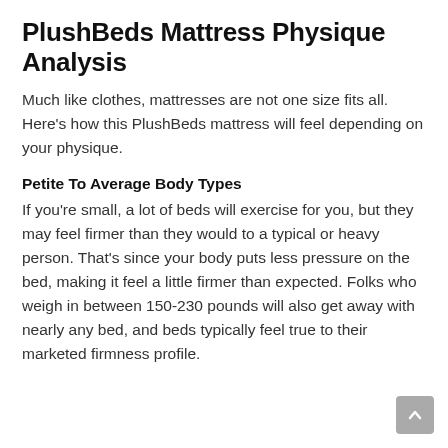PlushBeds Mattress Physique Analysis
Much like clothes, mattresses are not one size fits all. Here's how this PlushBeds mattress will feel depending on your physique.
Petite To Average Body Types
If you're small, a lot of beds will exercise for you, but they may feel firmer than they would to a typical or heavy person. That's since your body puts less pressure on the bed, making it feel a little firmer than expected. Folks who weigh in between 150-230 pounds will also get away with nearly any bed, and beds typically feel true to their marketed firmness profile.